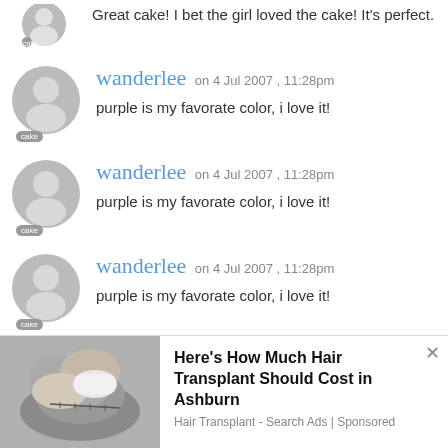Great cake! I bet the girl loved the cake! It's perfect.
wanderlee on 4 Jul 2007 , 11:28pm
purple is my favorate color, i love it!
wanderlee on 4 Jul 2007 , 11:28pm
purple is my favorate color, i love it!
wanderlee on 4 Jul 2007 , 11:28pm
purple is my favorate color, i love it!
[Figure (photo): Advertisement showing a hair transplant procedure with a gloved hand on a patient's scalp]
Here's How Much Hair Transplant Should Cost in Ashburn
Hair Transplant - Search Ads | Sponsored